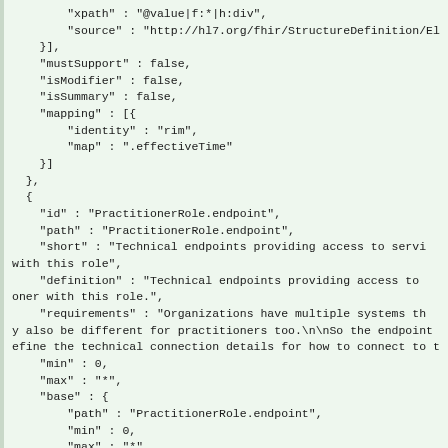JSON/FHIR StructureDefinition code snippet showing PractitionerRole.endpoint element definition including xpath, source, mustSupport, isModifier, isSummary, mapping, id, path, short, definition, requirements, min, max, base, and type fields.